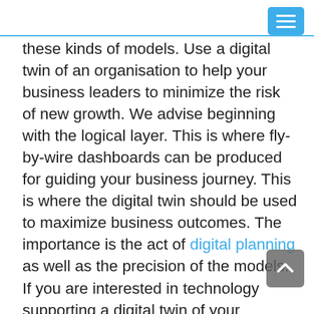these kinds of models. Use a digital twin of an organisation to help your business leaders to minimize the risk of new growth. We advise beginning with the logical layer. This is where fly-by-wire dashboards can be produced for guiding your business journey. This is where the digital twin should be used to maximize business outcomes. The importance is the act of digital planning as well as the precision of the models. If you are interested in technology supporting a digital twin of your business, we can help you! Don't build it yourself, there are emerging technologies supporting big data and digital twins.